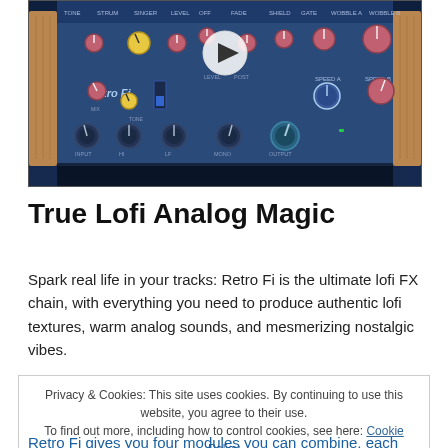[Figure (screenshot): Screenshot of the Retro Fi audio plugin interface showing a blue hardware-styled plugin with multiple knobs, sliders, and controls labeled with various audio parameters. A play button overlay is visible in the center top area.]
True Lofi Analog Magic
Spark real life in your tracks: Retro Fi is the ultimate lofi FX chain, with everything you need to produce authentic lofi textures, warm analog sounds, and mesmerizing nostalgic vibes.
Privacy & Cookies: This site uses cookies. By continuing to use this website, you agree to their use. To find out more, including how to control cookies, see here: Cookie Policy
Close and accept
Retro Fi gives you four modules you can combine, each with